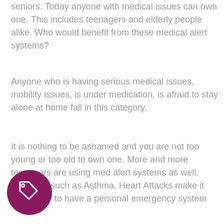seniors. Today anyone with medical issues can own one. This includes teenagers and elderly people alike. Who would benefit from these medical alert systems?
Anyone who is having serious medical issues, mobility issues, is under medication, is afraid to stay alone at home fall in this category.
It is nothing to be ashamed and you are not too young or too old to own one. More and more teenagers are using med alert systems as well. Diseases such as Asthma, Heart Attacks make it necessary to have a personal emergency system
[Figure (illustration): A dark magenta/purple circle with a white price tag icon inside it, positioned at bottom left of the page.]